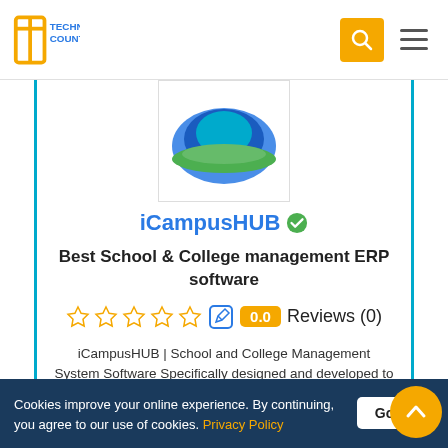Technology Counter - navigation bar with logo, search and menu
[Figure (logo): iCampusHUB product logo — blue and green graphic with book/graduation cap motif on white background with border]
iCampusHUB ✓
Best School & College management ERP software
0.0  Reviews (0)
iCampusHUB | School and College Management System Software Specifically designed and developed to simplify Student, Fees, Academic, Parent-Teacher-Student communication....View Profile
Cookies improve your online experience. By continuing, you agree to our use of cookies. Privacy Policy  Got it!